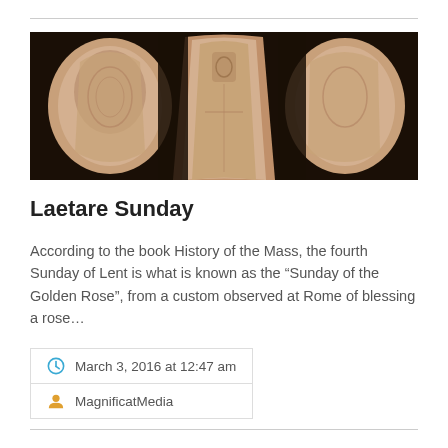[Figure (photo): Three ornate pink/rose damask vestments displayed against a dark background]
Laetare Sunday
According to the book History of the Mass, the fourth Sunday of Lent is what is known as the “Sunday of the Golden Rose”, from a custom observed at Rome of blessing a rose…
March 3, 2016 at 12:47 am
MagnificatMedia